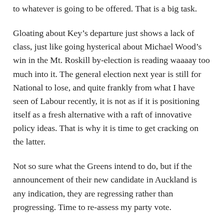to whatever is going to be offered. That is a big task.
Gloating about Key’s departure just shows a lack of class, just like going hysterical about Michael Wood’s win in the Mt. Roskill by-election is reading waaaay too much into it. The general election next year is still for National to lose, and quite frankly from what I have seen of Labour recently, it is not as if it is positioning itself as a fresh alternative with a raft of innovative policy ideas. That is why it is time to get cracking on the latter.
Not so sure what the Greens intend to do, but if the announcement of their new candidate in Auckland is any indication, they are regressing rather than progressing. Time to re-assess my party vote.
It is said that the Mana and Maori parties are in talks to merge. Cue Tui ad here.